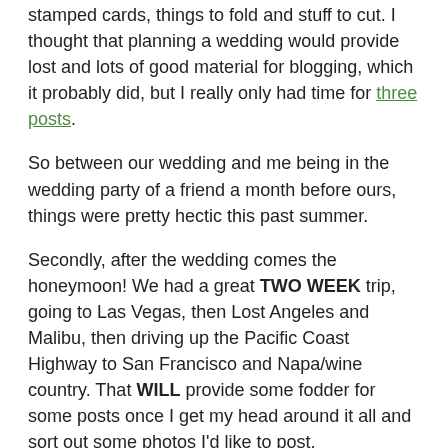stamped cards, things to fold and stuff to cut.  I thought that planning a wedding would provide lost and lots of good material for blogging, which it probably did, but I really only had time for three posts.
So between our wedding and me being in the wedding party of a friend a month before ours, things were pretty hectic this past summer.
Secondly, after the wedding comes the honeymoon!  We had a great TWO WEEK trip, going to Las Vegas, then Lost Angeles and Malibu, then driving up the Pacific Coast Highway to San Francisco and Napa/wine country.  That WILL provide some fodder for some posts once I get my head around it all and sort out some photos I'd like to post.
So besides wedding related stuff, what have I been up to?  The usual: reading, listening to music, cooking, NOT blogging...  a couple of highlights of stuff that I'm into recently: